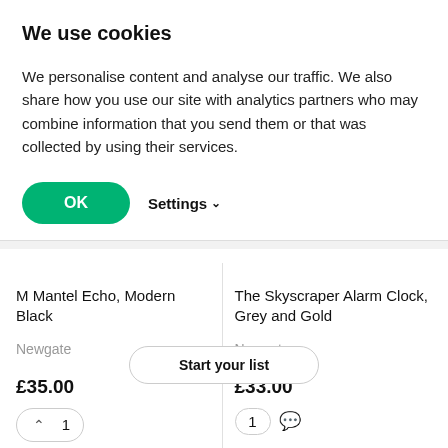We use cookies
We personalise content and analyse our traffic. We also share how you use our site with analytics partners who may combine information that you send them or that was collected by using their services.
OK   Settings
M Mantel Echo, Modern Black
Newgate
£35.00
The Skyscraper Alarm Clock, Grey and Gold
Newgate
£33.00
1
Start your list
1
Add to list
Add to list